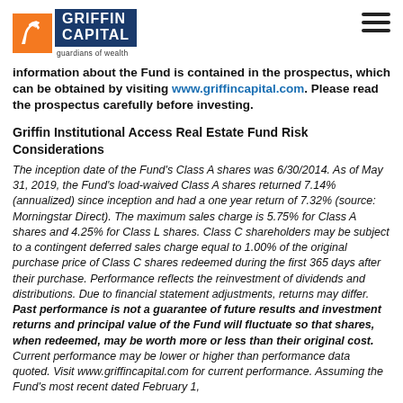Griffin Capital — guardians of wealth
information about the Fund is contained in the prospectus, which can be obtained by visiting www.griffincapital.com. Please read the prospectus carefully before investing.
Griffin Institutional Access Real Estate Fund Risk Considerations
The inception date of the Fund's Class A shares was 6/30/2014. As of May 31, 2019, the Fund's load-waived Class A shares returned 7.14% (annualized) since inception and had a one year return of 7.32% (source: Morningstar Direct). The maximum sales charge is 5.75% for Class A shares and 4.25% for Class L shares. Class C shareholders may be subject to a contingent deferred sales charge equal to 1.00% of the original purchase price of Class C shares redeemed during the first 365 days after their purchase. Performance reflects the reinvestment of dividends and distributions. Due to financial statement adjustments, returns may differ. Past performance is not a guarantee of future results and investment returns and principal value of the Fund will fluctuate so that shares, when redeemed, may be worth more or less than their original cost. Current performance may be lower or higher than performance data quoted. Visit www.griffincapital.com for current performance. Assuming the Fund's most recent dated February 1,